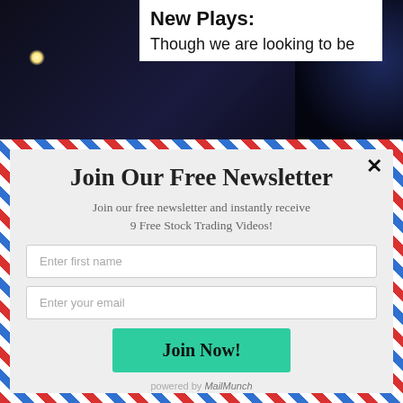New Plays:
Though we are looking to be
Join Our Free Newsletter
Join our free newsletter and instantly receive 9 Free Stock Trading Videos!
Enter first name
Enter your email
Join Now!
powered by MailMunch